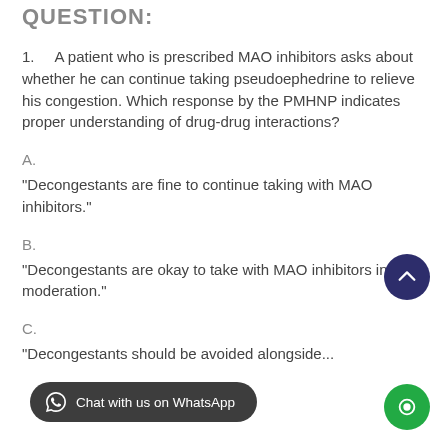QUESTION:
1.   A patient who is prescribed MAO inhibitors asks about whether he can continue taking pseudoephedrine to relieve his congestion. Which response by the PMHNP indicates proper understanding of drug-drug interactions?
A.
“Decongestants are fine to continue taking with MAO inhibitors.”
B.
“Decongestants are okay to take with MAO inhibitors in moderation.”
C.
“Decongestants should be avoided alongside...